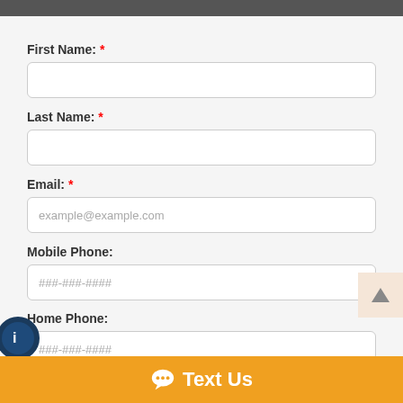First Name: *
(empty input field)
Last Name: *
(empty input field)
Email: *
example@example.com
Mobile Phone:
###-###-####
Home Phone:
###-###-####
Comments:
Text Us